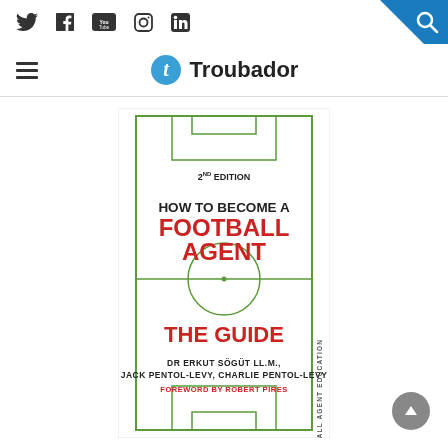Troubador - social icons: Twitter, Facebook, YouTube, Instagram, LinkedIn
[Figure (logo): Troubador publisher logo with blue 't' icon and wordmark 'Troubador']
[Figure (illustration): Book cover: '2ND EDITION - HOW TO BECOME A FOOTBALL AGENT - THE GUIDE' by DR ERKUT SÖGÜT LL.M., JACK PENTOL-LEVY, CHARLIE PENTOL-LEVY. Foreword by Robert Pires. Features a green football pitch outline on white background. Vertical text on spine reads 'FOOTBALL AGENT EDUCATION'.]